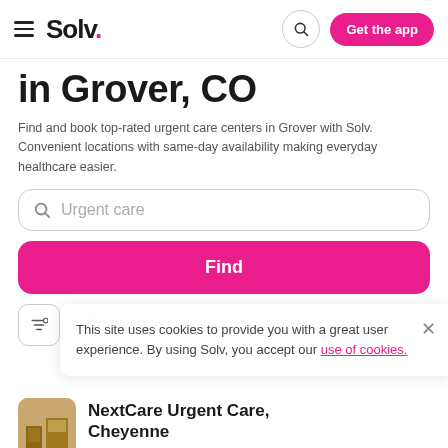Solv. — Get the app
in Grover, CO
Find and book top-rated urgent care centers in Grover with Solv. Convenient locations with same-day availability making everyday healthcare easier.
Urgent care
Find
This site uses cookies to provide you with a great user experience. By using Solv, you accept our use of cookies.
NextCare Urgent Care, Cheyenne